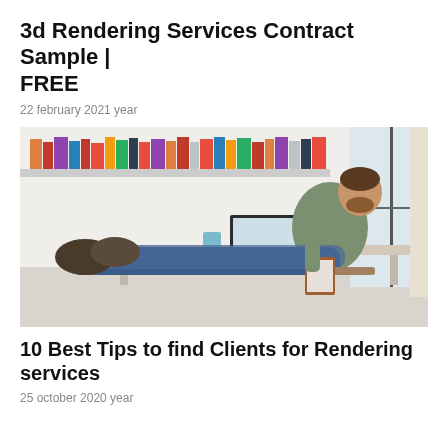3d Rendering Services Contract Sample | FREE
22 february 2021 year
[Figure (photo): Man sitting casually at a white desk with feet up, working on a laptop and holding a clipboard, in a bright home office with bookshelves in the background]
10 Best Tips to find Clients for Rendering services
25 october 2020 year